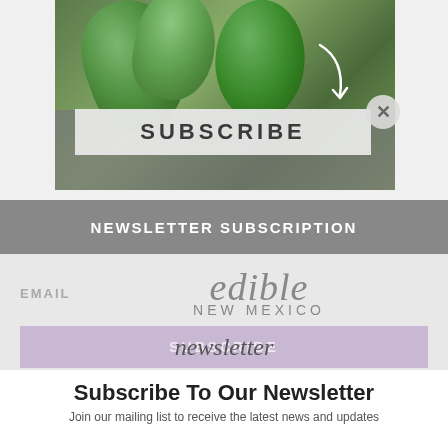[Figure (screenshot): A popup/modal overlay on a webpage showing a newsletter subscription widget. The top portion shows a photo of green leaves/herbs on a gray background with a white SUBSCRIBE box and a curved arrow. A close (×) button appears top right. Behind the popup is a faded 'Subscribe To Our Newsletter' heading and body text. A dark gray bar reads 'NEWSLETTER SUBSCRIPTION'. Below is the Edible New Mexico logo with an email field and a lavender subscribe button with cursive 'newsletter' text.]
NEWSLETTER SUBSCRIPTION
Subscribe To Our Newsletter
Join our mailing list to receive the latest news and updates